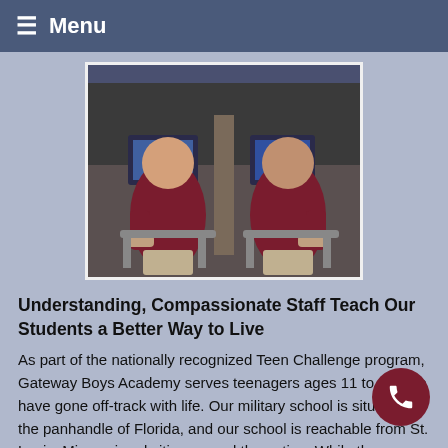≡ Menu
[Figure (photo): Two teenage boys in dark red shirts sitting in chairs in front of computer workstations, both smiling at the camera.]
Understanding, Compassionate Staff Teach Our Students a Better Way to Live
As part of the nationally recognized Teen Challenge program, Gateway Boys Academy serves teenagers ages 11 to 17 who have gone off-track with life. Our military school is situated in the panhandle of Florida, and our school is reachable from St. Louis, Missouri and cities around the nation. While the program is very disciplined and